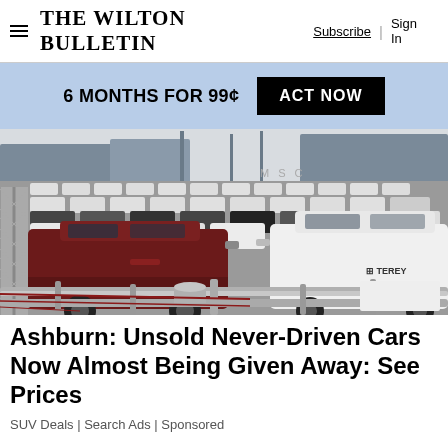THE WILTON BULLETIN | Subscribe | Sign In
6 MONTHS FOR 99¢  ACT NOW
[Figure (photo): Large parking lot filled with rows of new SUVs and trucks, including a dark red and white Toyota FJ Cruiser in the foreground, behind a chain-link fence, with cargo ships visible in the background. Text 'M S C' visible in background. 'TEREY' partially visible on a container in the bottom right.]
Ashburn: Unsold Never-Driven Cars Now Almost Being Given Away: See Prices
SUV Deals | Search Ads | Sponsored